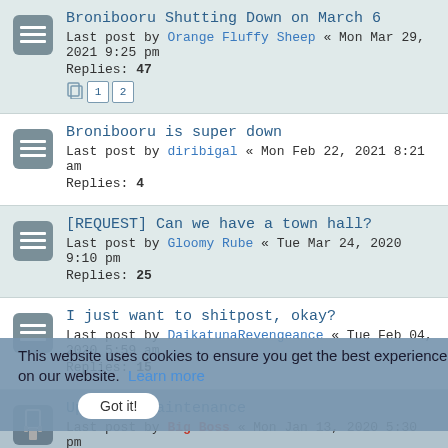Bronibooru Shutting Down on March 6
Last post by Orange Fluffy Sheep « Mon Mar 29, 2021 9:25 pm
Replies: 47
Pages: 1 2
Bronibooru is super down
Last post by diribigal « Mon Feb 22, 2021 8:21 am
Replies: 4
[REQUEST] Can we have a town hall?
Last post by Gloomy Rube « Tue Mar 24, 2020 9:10 pm
Replies: 25
I just want to shitpost, okay?
Last post by DaikatunaRevengeance « Tue Feb 04, 2020 5:59 am
Replies: 15
Upcoming Maintenance
Last post by Big Boss « Mon Jan 13, 2020 5:30 pm
Replies: 1
The Usergroup/Gangtag re-add request thread
Last post by Princess Flufflebutt « Sun Nov 03, 2019 9:36 am
Replies: 106
Pages: 1 2 3
This website uses cookies to ensure you get the best experience on our website. Learn more
Got it!